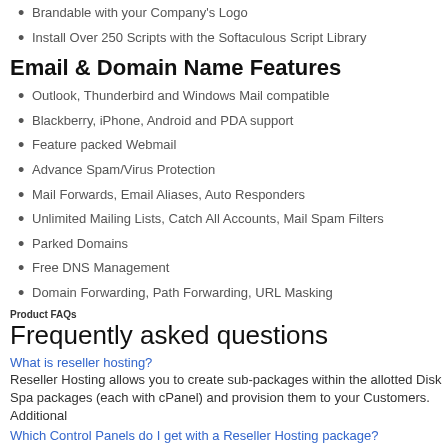Brandable with your Company's Logo
Install Over 250 Scripts with the Softaculous Script Library
Email & Domain Name Features
Outlook, Thunderbird and Windows Mail compatible
Blackberry, iPhone, Android and PDA support
Feature packed Webmail
Advance Spam/Virus Protection
Mail Forwards, Email Aliases, Auto Responders
Unlimited Mailing Lists, Catch All Accounts, Mail Spam Filters
Parked Domains
Free DNS Management
Domain Forwarding, Path Forwarding, URL Masking
Product FAQs
Frequently asked questions
What is reseller hosting?
Reseller Hosting allows you to create sub-packages within the allotted Disk Spa packages (each with cPanel) and provision them to your Customers. Additional
Which Control Panels do I get with a Reseller Hosting package?
All Reseller Hosting packages come with 2 separate Control Panels - WHM an your Customers to manage their individual Hosting packages.
How can I create Sub-Packages and manage them?
Your WHM Control Panel allows you to create individual Hosting packages and
Can I upgrade between plans?
Yes, you can upgrade your existing plan to a higher plan at any time.
Is there a money back guarantee?
Yes, we offer a 100% Risk Free, 30 Day Money Back Guarantee.